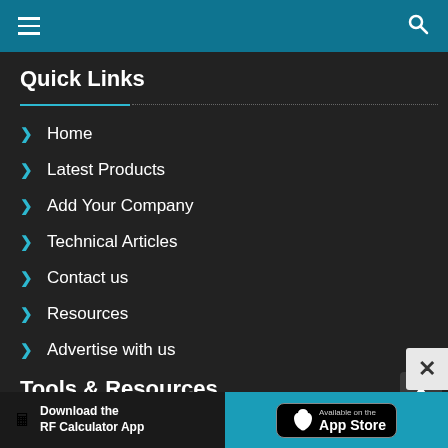Navigation bar with menu and search icons
Quick Links
Home
Latest Products
Add Your Company
Technical Articles
Contact us
Resources
Advertise with us
Tools & Resources
Custom Filter Quotes
[Figure (screenshot): Download the RF Calculator App - Available on the App Store banner]
×